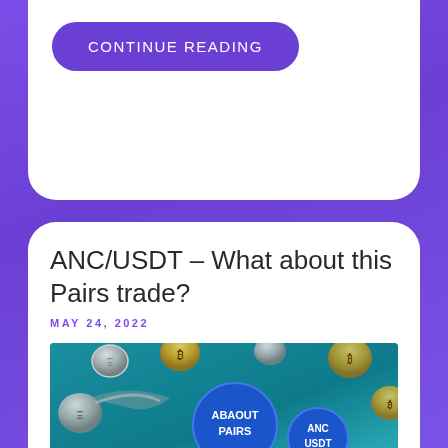CONTINUE READING
ANC/USDT – What about this Pairs trade?
MAY 24, 2022
[Figure (illustration): Cryptocurrency coins floating in a teal background with circular badges reading 'ABAOUT PAIRS' and 'ANC USDT', RevenueBot watermark visible]
"What about this Pairs trade?" is a new format of introductory articles created by RevenueBot. Every week we will be providing you